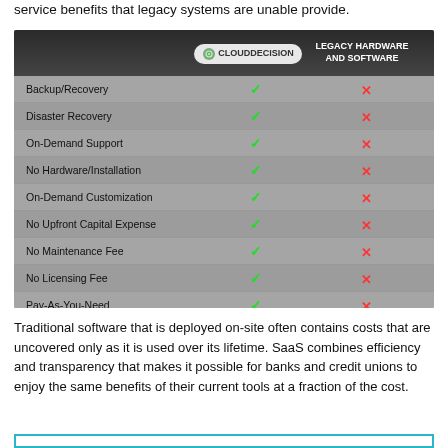service benefits that legacy systems are unable provide.
[Figure (table-as-image): Comparison table: CloudDecision vs Legacy Hardware and Software. Rows: Backup/Recovery, Disaster Recovery, On-Demand Support, No Hardware/Installation, On-Demand Customization, No Upfront Capital Expense, No Maintenance Fee, No Licensing Fee, Pay-As-You-Need. CloudDecision column shows green checkmarks for all. Legacy column shows red X marks for all. Prices: $17,820 (CloudDecision) vs $32,000 (Legacy).]
Traditional software that is deployed on-site often contains costs that are uncovered only as it is used over its lifetime. SaaS combines efficiency and transparency that makes it possible for banks and credit unions to enjoy the same benefits of their current tools at a fraction of the cost.